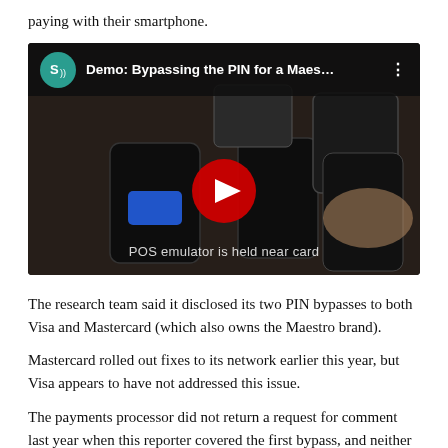paying with their smartphone.
[Figure (screenshot): YouTube video thumbnail showing 'Demo: Bypassing the PIN for a Maes...' with channel icon, play button, and subtitle 'POS emulator is held near card'. Dark background showing smartphones and a card payment terminal on a wooden surface.]
The research team said it disclosed its two PIN bypasses to both Visa and Mastercard (which also owns the Maestro brand).
Mastercard rolled out fixes to its network earlier this year, but Visa appears to have not addressed this issue.
The payments processor did not return a request for comment last year when this reporter covered the first bypass, and neither